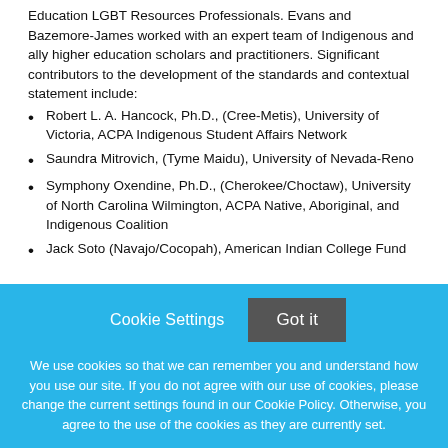Education LGBT Resources Professionals. Evans and Bazemore-James worked with an expert team of Indigenous and ally higher education scholars and practitioners. Significant contributors to the development of the standards and contextual statement include:
Robert L. A. Hancock, Ph.D., (Cree-Metis), University of Victoria, ACPA Indigenous Student Affairs Network
Saundra Mitrovich, (Tyme Maidu), University of Nevada-Reno
Symphony Oxendine, Ph.D., (Cherokee/Choctaw), University of North Carolina Wilmington, ACPA Native, Aboriginal, and Indigenous Coalition
Jack Soto (Navajo/Cocopah), American Indian College Fund
Cookie Settings   Got it
We use cookies so that we can remember you and understand how you use our site. If you do not agree with our use of cookies, please change the current settings found in our Cookie Policy. Otherwise, you agree to the use of the cookies as they are currently set.